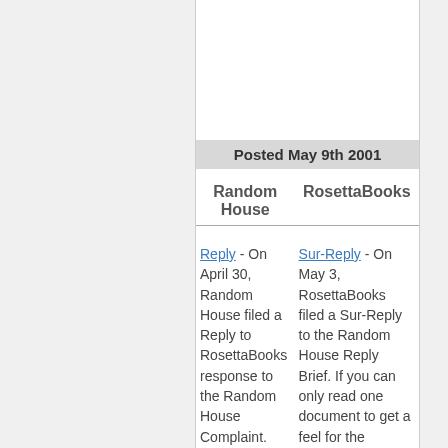Posted May 9th 2001
| Random House | RosettaBooks |
| --- | --- |
| Reply - On April 30, Random House filed a Reply to RosettaBooks response to the Random House Complaint. (29 pages) | Sur-Reply - On May 3, RosettaBooks filed a Sur-Reply to the Random House Reply Brief. If you can only read one document to get a feel for the litigation, read this one. (18 pages) |
| Publisher´s Request for Permission to File Amicus Brief - On April 30, Penguin Putnam Inc., |  |